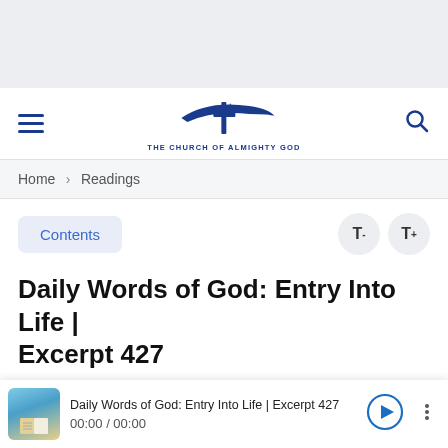[Figure (logo): The Church of Almighty God logo with stylized cross and swoosh]
Home > Readings
Contents   T-   T+
Daily Words of God: Entry Into Life | Excerpt 427
The practice of the truth is a path by which people
Daily Words of God: Entry Into Life | Excerpt 427  00:00 / 00:00